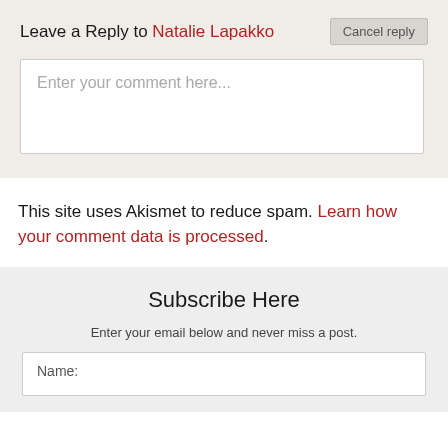Leave a Reply to Natalie Lapakko
Enter your comment here...
This site uses Akismet to reduce spam. Learn how your comment data is processed.
Subscribe Here
Enter your email below and never miss a post.
Name: